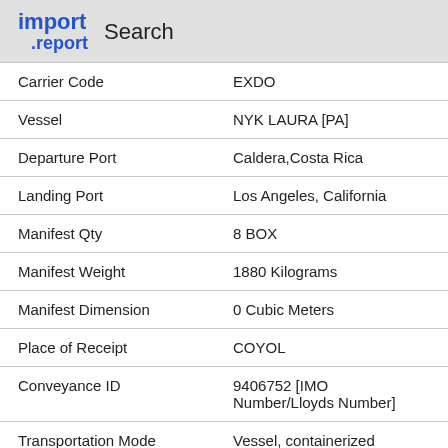import .report   Search
| Field | Value |
| --- | --- |
| Carrier Code | EXDO |
| Vessel | NYK LAURA [PA] |
| Departure Port | Caldera,Costa Rica |
| Landing Port | Los Angeles, California |
| Manifest Qty | 8 BOX |
| Manifest Weight | 1880 Kilograms |
| Manifest Dimension | 0 Cubic Meters |
| Place of Receipt | COYOL |
| Conveyance ID | 9406752 [IMO Number/Lloyds Number] |
| Transportation Mode | Vessel, containerized |